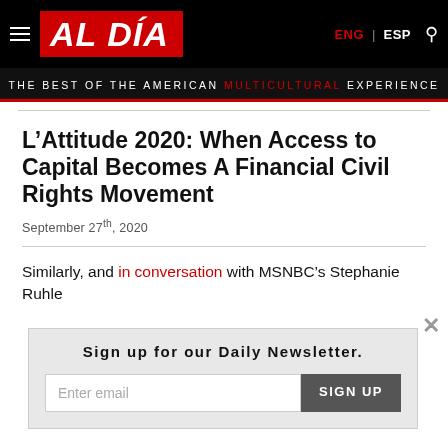AL DÍA — THE BEST OF THE AMERICAN MULTICULTURAL EXPERIENCE | ENG | ESP
L'Attitude 2020: When Access to Capital Becomes A Financial Civil Rights Movement
September 27th, 2020
Similarly, and in conversation with MSNBC's Stephanie Ruhle
Sign up for our Daily Newsletter.